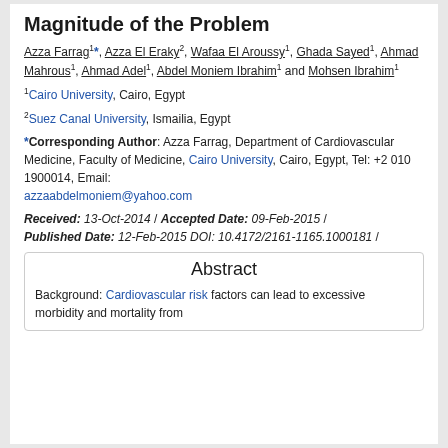Magnitude of the Problem
Azza Farrag1*, Azza El Eraky2, Wafaa El Aroussy1, Ghada Sayed1, Ahmad Mahrous1, Ahmad Adel1, Abdel Moniem Ibrahim1 and Mohsen Ibrahim1
1Cairo University, Cairo, Egypt
2Suez Canal University, Ismailia, Egypt
*Corresponding Author: Azza Farrag, Department of Cardiovascular Medicine, Faculty of Medicine, Cairo University, Cairo, Egypt, Tel: +2 010 1900014, Email: azzaabdelmoniem@yahoo.com
Received: 13-Oct-2014 / Accepted Date: 09-Feb-2015 / Published Date: 12-Feb-2015 DOI: 10.4172/2161-1165.1000181 /
Abstract
Background: Cardiovascular risk factors can lead to excessive morbidity and mortality from